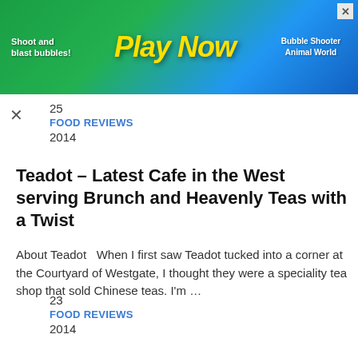[Figure (illustration): Advertisement banner with green/blue gradient background. Shows 'Shoot and blast bubbles! Play Now' text with cartoon animal characters and 'Bubble Shooter Animal World' text. Has an X close button.]
× 25 FOOD REVIEWS 2014
Teadot – Latest Cafe in the West serving Brunch and Heavenly Teas with a Twist
About Teadot   When I first saw Teadot tucked into a corner at the Courtyard of Westgate, I thought they were a speciality tea shop that sold Chinese teas. I'm …
23 FOOD REVIEWS 2014
Ramen Keisuke Tonkotsu King Matsuri opens at Parkway Parade
About Ramen Keisuke Tonkotsu King Matsuri   After having 20 bowls of ramen just last month, I don't think any sane person would want to have another bowl of ramen.